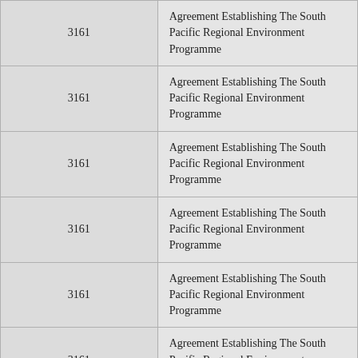| 3161 | Agreement Establishing The South Pacific Regional Environment Programme |
| 3161 | Agreement Establishing The South Pacific Regional Environment Programme |
| 3161 | Agreement Establishing The South Pacific Regional Environment Programme |
| 3161 | Agreement Establishing The South Pacific Regional Environment Programme |
| 3161 | Agreement Establishing The South Pacific Regional Environment Programme |
| 3161 | Agreement Establishing The South Pacific Regional Environment Programme |
| 3161 | Agreement Establishing The South Pacific Regional Environment Programme |